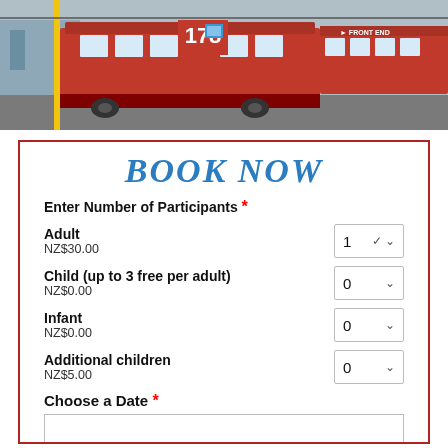[Figure (photo): Photo banner of a red tram/streetcar numbered 178 at a station, with urban background]
BOOK NOW
Enter Number of Participants *
Adult
NZ$30.00
Child (up to 3 free per adult)
NZ$0.00
Infant
NZ$0.00
Additional children
NZ$5.00
Choose a Date *